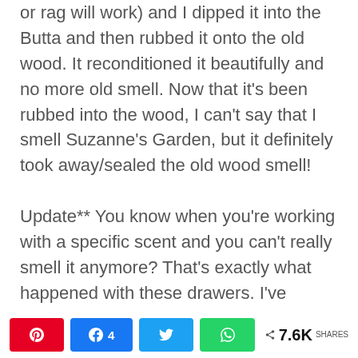or rag will work) and I dipped it into the Butta and then rubbed it onto the old wood. It reconditioned it beautifully and no more old smell. Now that it's been rubbed into the wood, I can't say that I smell Suzanne's Garden, but it definitely took away/sealed the old wood smell!

Update** You know when you're working with a specific scent and you can't really smell it anymore? That's exactly what happened with these drawers. I've checked on them the last week and the DO have a lovely floral smell!